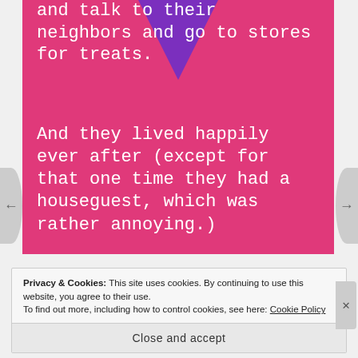[Figure (illustration): Pink background page with purple downward-pointing triangle/arrow shape at top center. White text reads: 'and talk to their neighbors and go to stores for treats.' followed by 'And they lived happily ever after (except for that one time they had a houseguest, which was rather annoying.)']
Privacy & Cookies: This site uses cookies. By continuing to use this website, you agree to their use.
To find out more, including how to control cookies, see here: Cookie Policy
Close and accept